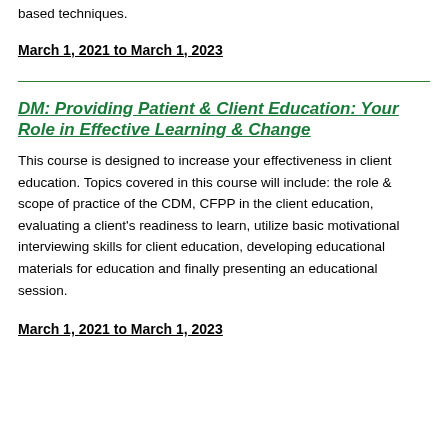based techniques.
March 1, 2021 to March 1, 2023
DM: Providing Patient & Client Education: Your Role in Effective Learning & Change
This course is designed to increase your effectiveness in client education. Topics covered in this course will include: the role & scope of practice of the CDM, CFPP in the client education, evaluating a client's readiness to learn, utilize basic motivational interviewing skills for client education, developing educational materials for education and finally presenting an educational session.
March 1, 2021 to March 1, 2023